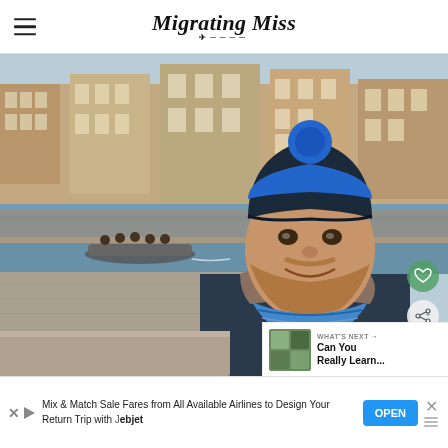Migrating Miss
[Figure (photo): Man wearing a blue knitted beanie hat and dark jacket with fur-trimmed hood, standing by a canal with historic brick buildings in the background. A small boat with passengers is visible on the water. The photo is taken outdoors in what appears to be a European city (possibly Bruges, Belgium).]
WHAT'S NEXT → Can You Really Learn...
Mix & Match Sale Fares from All Available Airlines to Design Your Return Trip with Jebjet